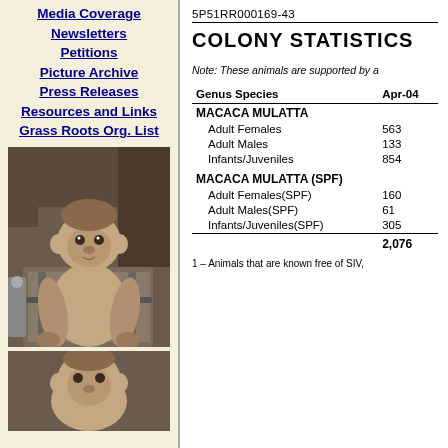Media Coverage
Newsletters
Petitions
Picture Archive
Press Releases
Resources and Links
Grass Roots Org. List
[Figure (photo): A rhesus macaque monkey sitting in a restraint chair in a laboratory setting]
[Figure (photo): Partial view of another monkey, bottom of left column]
5P51RR000169-43
COLONY STATISTICS
Note: These animals are supported by a
| Genus Species | Apr-04 |
| --- | --- |
| MACACA MULATTA |  |
| Adult Females | 563 |
| Adult Males | 133 |
| Infants/Juveniles | 854 |
| MACACA MULATTA (SPF) |  |
| Adult Females(SPF) | 160 |
| Adult Males(SPF) | 61 |
| Infants/Juveniles(SPF) | 305 |
|  | 2,076 |
1 – Animals that are known free of SIV,